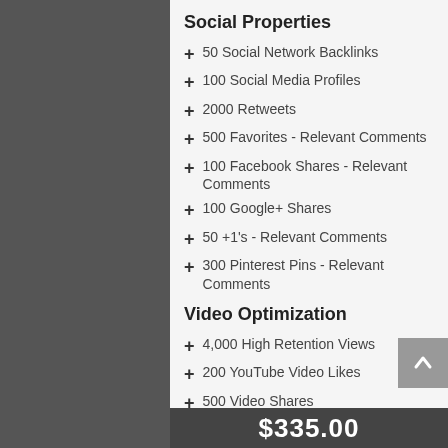Social Properties
50 Social Network Backlinks
100 Social Media Profiles
2000 Retweets
500 Favorites - Relevant Comments
100 Facebook Shares - Relevant Comments
100 Google+ Shares
50 +1's - Relevant Comments
300 Pinterest Pins - Relevant Comments
Video Optimization
4,000 High Retention Views
200 YouTube Video Likes
500 Video Shares
150 Video Favorites
$335.00